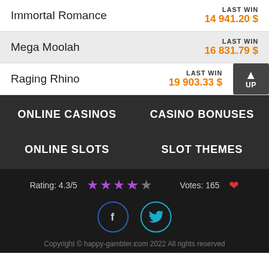Immortal Romance — LAST WIN 14 941.20 $
Mega Moolah — LAST WIN 16 831.79 $
Raging Rhino — LAST WIN 19 903.33 $
ONLINE CASINOS
CASINO BONUSES
ONLINE SLOTS
SLOT THEMES
Rating: 4.3/5  ★★★★☆  Votes: 165 ♥
[Figure (other): Facebook and Twitter social media icon circles]
Copyright © happy-gambler.com 2022 All rights reserved